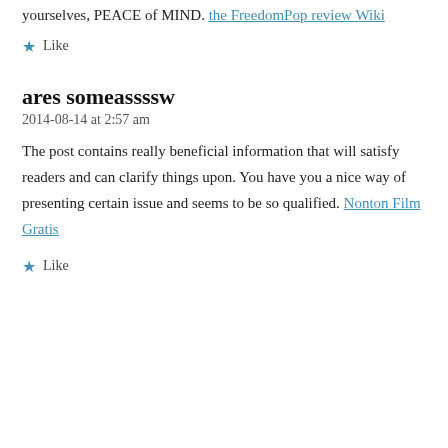yourselves, PEACE of MIND. the FreedomPop review Wiki
Like
ares someassssw
2014-08-14 at 2:57 am
The post contains really beneficial information that will satisfy readers and can clarify things upon. You have you a nice way of presenting certain issue and seems to be so qualified. Nonton Film Gratis
Like